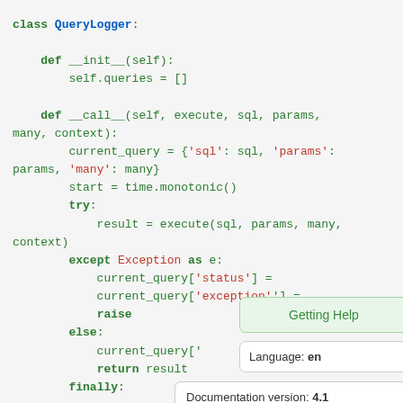[Figure (screenshot): Python source code for a QueryLogger class with a popup tooltip showing 'Getting Help', language 'en', and documentation version '4.1']